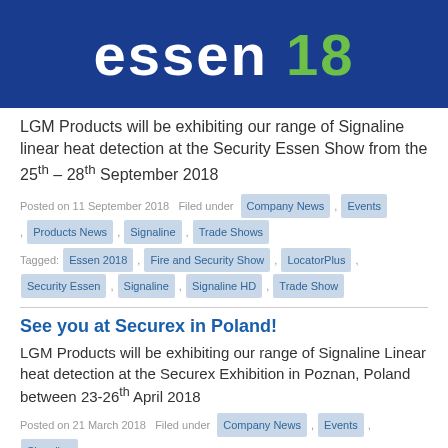[Figure (logo): Dark blue banner with 'essen 18' text, '18' in green]
LGM Products will be exhibiting our range of Signaline linear heat detection at the Security Essen Show from the 25th – 28th September 2018
Posted on 11 September 2018  Filed under  Company News , Events , Products News , Signaline , Trade Shows
Tagged:  Essen 2018 , Fire and Security Show , LocatorPlus , Security Essen , Signaline , Signaline HD , Trade Show
See you at Securex in Poland!
LGM Products will be exhibiting our range of Signaline Linear heat detection at the Securex Exhibition in Poznan, Poland between 23-26th April 2018
Posted on 21 March 2018  Filed under  Company News , Events , Signaline